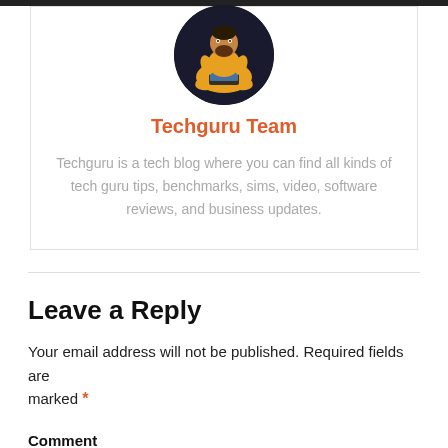[Figure (illustration): Circular avatar logo of Techguru Team — a cartoon figure in yellow sitting cross-legged with a laptop, on a dark background]
Techguru Team
Techguru is a tech blog where you can find all kinds of tech guru tips, benchmarks, sims, video, software reviews, and business updates.
Leave a Reply
Your email address will not be published. Required fields are marked *
Comment